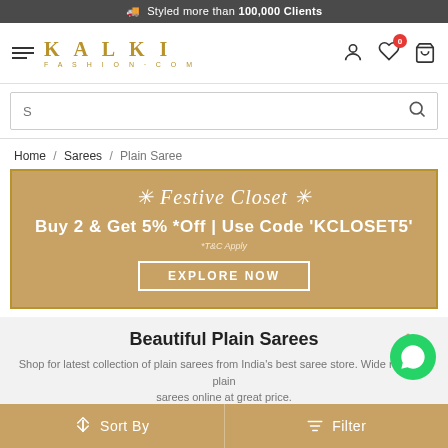🚚 Styled more than 100,000 Clients
[Figure (logo): KALKI FASHION.COM logo with hamburger menu and icons]
S (search bar placeholder)
Home / Sarees / Plain Saree
[Figure (infographic): Festive Closet promo banner: Buy 2 & Get 5% *Off | Use Code 'KCLOSET5' *T&C Apply — EXPLORE NOW button]
Beautiful Plain Sarees
Shop for latest collection of plain sarees from India's best saree store. Wide range of plain sarees online at great price.
Items 1-30 of 311
Sort By   Filter